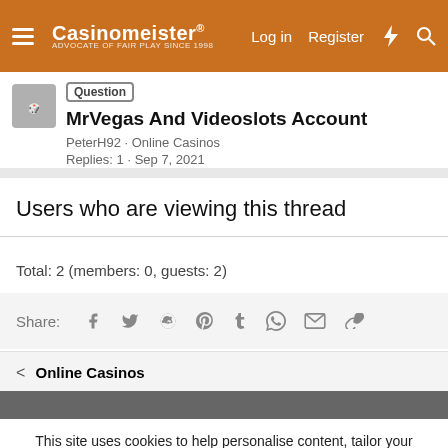Casinomeister® — Log in   Register
Question MrVegas And Videoslots Account
PeterH92 · Online Casinos
Replies: 1 · Sep 7, 2021
Users who are viewing this thread
Total: 2 (members: 0, guests: 2)
Share:
< Online Casinos
This site uses cookies to help personalise content, tailor your experience and to keep you logged in if you register.
By continuing to use this site, you are consenting to our use of cookies.
✓ Accept   Learn more...